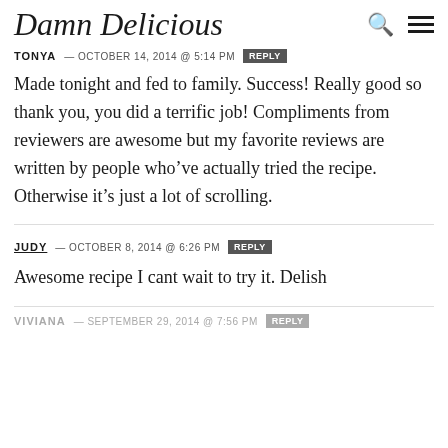Damn Delicious
TONYA — OCTOBER 14, 2014 @ 5:14 PM  REPLY
Made tonight and fed to family. Success! Really good so thank you, you did a terrific job! Compliments from reviewers are awesome but my favorite reviews are written by people who've actually tried the recipe. Otherwise it's just a lot of scrolling.
JUDY — OCTOBER 8, 2014 @ 6:26 PM  REPLY
Awesome recipe I cant wait to try it. Delish
VIVIANA — SEPTEMBER 29, 2014 @ 7:56 PM  REPLY